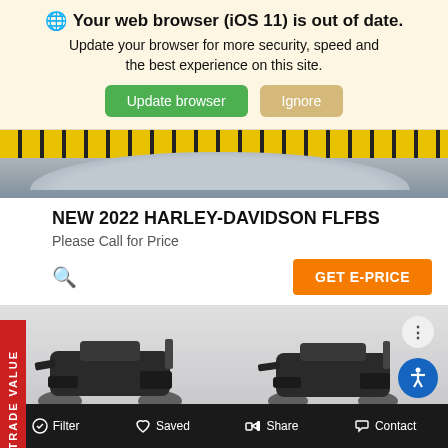🌐 Your web browser (iOS 11) is out of date. Update your browser for more security, speed and the best experience on this site. Update browser  Ignore
[Figure (photo): Partial view of a motorcycle loading ramp with yellow and black anti-slip diamond plate surface]
NEW 2022 HARLEY-DAVIDSON FLFBS
Please Call for Price
GET E-PRICE
TRADE VALUE
[Figure (photo): Two dark-colored Harley-Davidson motorcycles (Fat Boy models) viewed from behind, parked in a showroom with light gray walls]
Filter   Saved   Share   Contact